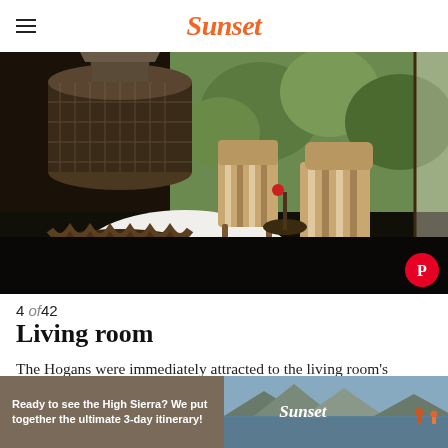Sunset
[Figure (photo): Interior living room photo showing a large industrial-style cylindrical metal fireplace on a round white rug, with striped upholstered chairs and a small side table, black hardwood floor, and floor-to-ceiling windows with trees visible outside. A Pinterest share button is overlaid at bottom right.]
4 of42
Living room
The Hogans were immediately attracted to the living room's unique industrial-style fireplace and sought to
[Figure (infographic): Advertisement banner: tan/brown background with text 'Ready to see the High Sierra? We put together the ultimate 3-day itinerary!' on left side with Sunset logo, and a scenic photo of a mountain lake with two hikers on the right side.]